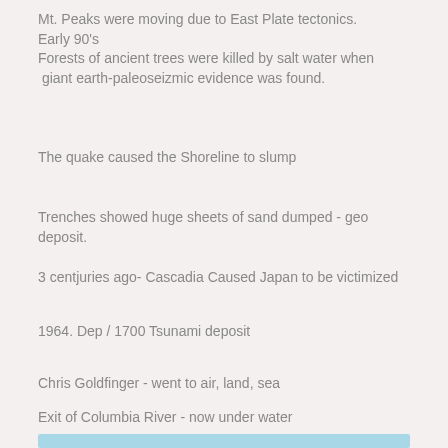Mt. Peaks were moving due to East Plate tectonics.
Early 90's
Forests of ancient trees were killed by salt water when  giant earth-paleoseizmic evidence was found.
The quake caused the Shoreline to slump
Trenches showed huge sheets of sand dumped - geo deposit.
3 centjuries ago- Cascadia Caused Japan to be victimized
1964. Dep / 1700 Tsunami deposit
Chris Goldfinger - went to air, land, sea
Exit of Columbia River - now under water
[Figure (other): Light blue horizontal bar at bottom of page]